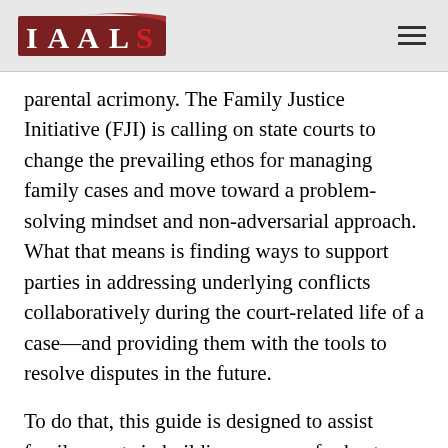IAALS
parental acrimony. The Family Justice Initiative (FJI) is calling on state courts to change the prevailing ethos for managing family cases and move toward a problem-solving mindset and non-adversarial approach. What that means is finding ways to support parties in addressing underlying conflicts collaboratively during the court-related life of a case—and providing them with the tools to resolve disputes in the future.
To do that, this guide is designed to assist family courts in building a menu of robust alternative dispute resolution processes—such as mediation and other methods that are appropriate throughout the life of a